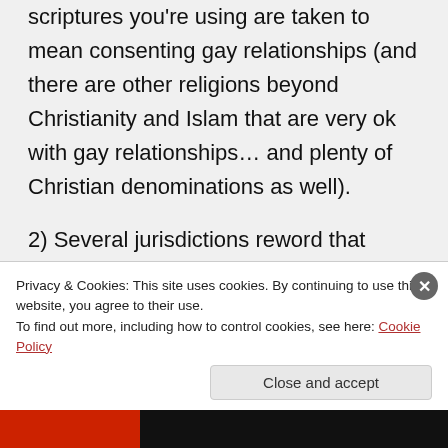scriptures you're using are taken to mean consenting gay relationships (and there are other religions beyond Christianity and Islam that are very ok with gay relationships… and plenty of Christian denominations as well).
2) Several jurisdictions reword that section of the obligation to be anyone that a MM holds near and
Privacy & Cookies: This site uses cookies. By continuing to use this website, you agree to their use. To find out more, including how to control cookies, see here: Cookie Policy